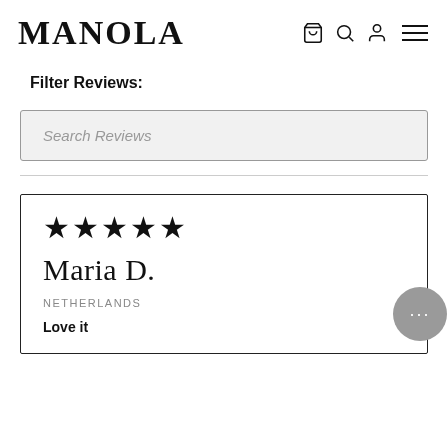MANOLA
Filter Reviews:
Search Reviews
★★★★★
Maria D.
NETHERLANDS
Love it